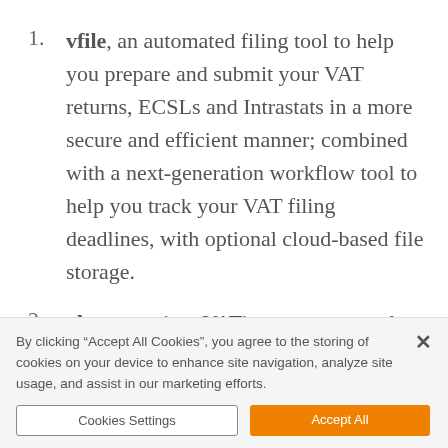vfile, an automated filing tool to help you prepare and submit your VAT returns, ECSLs and Intrastats in a more secure and efficient manner; combined with a next-generation workflow tool to help you track your VAT filing deadlines, with optional cloud-based file storage.
vlearn, an innoVATive content portal to help you improve your VAT compliance knowledge and access important legislation and case law.
3. [partial, text cut off]
By clicking “Accept All Cookies”, you agree to the storing of cookies on your device to enhance site navigation, analyze site usage, and assist in our marketing efforts.